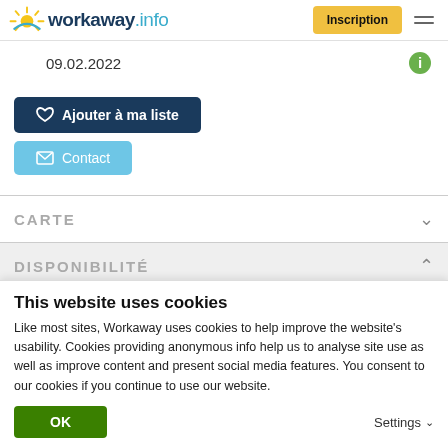[Figure (logo): Workaway.info logo with sun graphic]
Inscription
09.02.2022
♡ Ajouter à ma liste
✉ Contact
CARTE
DISPONIBILITÉ
This website uses cookies
Like most sites, Workaway uses cookies to help improve the website's usability. Cookies providing anonymous info help us to analyse site use as well as improve content and present social media features.  You consent to our cookies if you continue to use our website.
OK
Settings